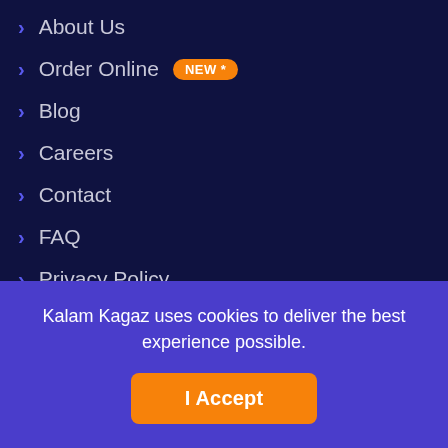About Us
Order Online NEW*
Blog
Careers
Contact
FAQ
Privacy Policy
Terms and Conditions
Service Policies
Kalam Kagaz uses cookies to deliver the best experience possible.